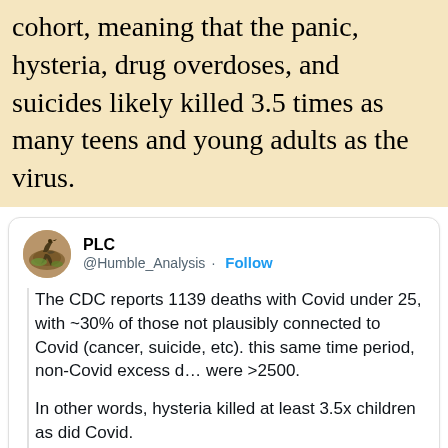cohort, meaning that the panic, hysteria, drug overdoses, and suicides likely killed 3.5 times as many teens and young adults as the virus.
[Figure (screenshot): Tweet from @Humble_Analysis (PLC) stating: The CDC reports 1139 deaths with Covid under 25, with ~30% of those not plausibly connected to Covid (cancer, suicide, etc). this same time period, non-Covid excess deaths were >2500. In other words, hysteria killed at least 3.5x children as did Covid. Includes partial chart preview titled 'USA Ages 0-24 Weekly All-Cause Mortality' with source www.cdc.gov/nchs/nvss/vsrr/covid19/excess_deaths.htm and y-axis label 1,600.]